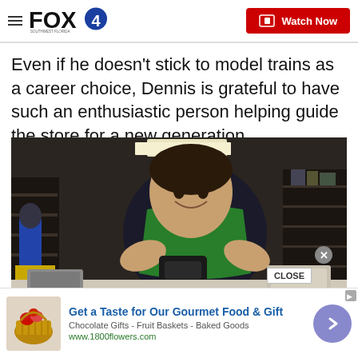FOX4 | Watch Now
Even if he doesn't stick to model trains as a career choice, Dennis is grateful to have such an enthusiastic person helping guide the store for a new generation.
[Figure (photo): Young man wearing a green apron smiling while examining a model train part at a workbench in a hobby store.]
[Figure (infographic): Advertisement banner: Get a Taste for Our Gourmet Food & Gift. Chocolate Gifts - Fruit Baskets - Baked Goods. www.1800flowers.com]